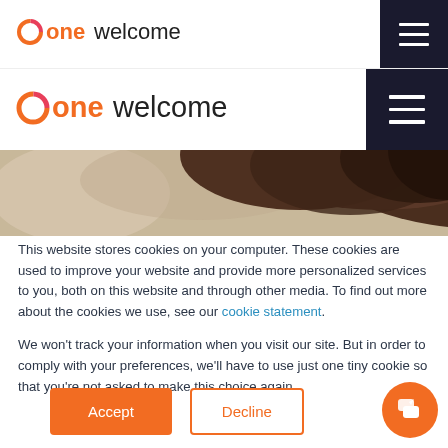onewelcome
onewelcome
[Figure (photo): Close-up top-of-head photo of a person with curly brown hair against a blurred background]
This website stores cookies on your computer. These cookies are used to improve your website and provide more personalized services to you, both on this website and through other media. To find out more about the cookies we use, see our cookie statement.
We won't track your information when you visit our site. But in order to comply with your preferences, we'll have to use just one tiny cookie so that you're not asked to make this choice again.
Accept | Decline